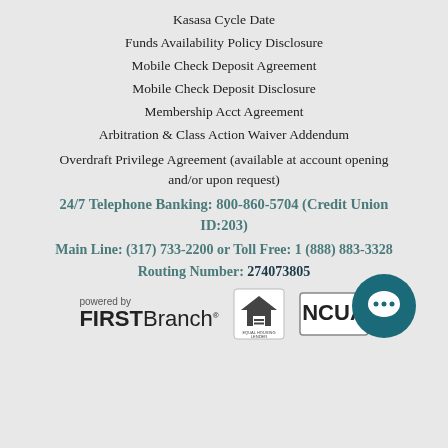Kasasa Cycle Date
Funds Availability Policy Disclosure
Mobile Check Deposit Agreement
Mobile Check Deposit Disclosure
Membership Acct Agreement
Arbitration & Class Action Waiver Addendum
Overdraft Privilege Agreement (available at account opening and/or upon request)
24/7 Telephone Banking: 800-860-5704 (Credit Union ID:203)
Main Line: (317) 733-2200 or Toll Free: 1 (888) 883-3328
Routing Number: 274073805
[Figure (logo): powered by FIRSTBranch logo, Equal Housing Lender logo, NCUA logo, and chat bubble icon]